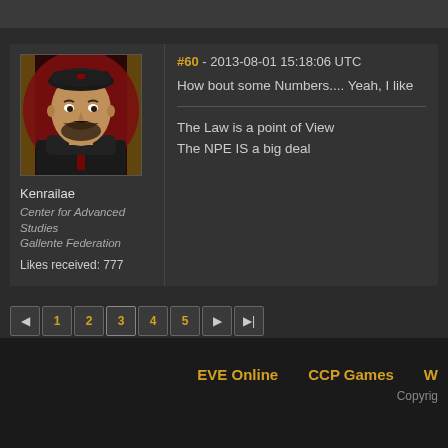[Figure (photo): Avatar portrait of a male character wearing a dark cap and dark clothing, with a beard, against a red and gold ornamental background (EVE Online game forum user avatar)]
Kenrailae
Center for Advanced Studies
Gallente Federation
Likes received: 777
#60 - 2013-08-01 15:18:06 UTC
How bout some Numbers.... Yeah, I like
The Law is a point of View
The NPE IS a big deal
EVE Online   CCP Games   W
Copyrig